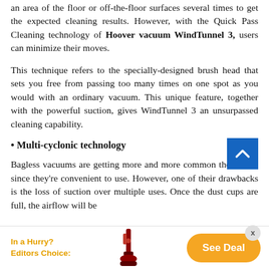an area of the floor or off-the-floor surfaces several times to get the expected cleaning results. However, with the Quick Pass Cleaning technology of Hoover vacuum WindTunnel 3, users can minimize their moves.
This technique refers to the specially-designed brush head that sets you free from passing too many times on one spot as you would with an ordinary vacuum. This unique feature, together with the powerful suction, gives WindTunnel 3 an unsurpassed cleaning capability.
• Multi-cyclonic technology
Bagless vacuums are getting more and more common these days since they're convenient to use. However, one of their drawbacks is the loss of suction over multiple uses. Once the dust cups are full, the airflow will be
In a Hurry?
Editors Choice:
[Figure (photo): Image of a red Hoover WindTunnel 3 upright vacuum cleaner]
See Deal